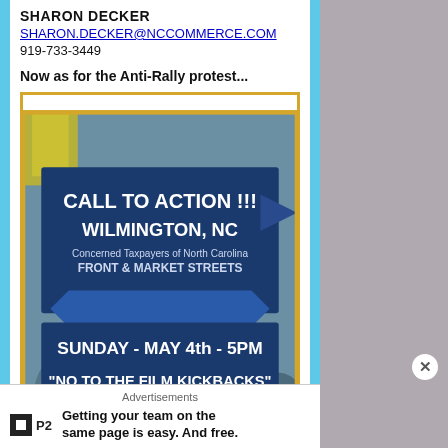SHARON DECKER
SHARON.DECKER@NCCOMMERCE.COM
919-733-3449
Now as for the Anti-Rally protest...
[Figure (photo): Facebook post image showing a protest flyer: CALL TO ACTION !!! WILMINGTON, NC - Concerned Taxpayers of North Carolina - FRONT & MARKET STREETS - SUNDAY - MAY 4th - 5PM - NO TO THE FILM KICKBACKS - Stand For Fair Treatment of ALL Businesses. Below it shows a Facebook comment from North Carolina Coastal Conservative Coalition stating the Anti-Film Incentives Rally decided not to gather due to concerns over personal safety.]
Baaaahahahahahahahaha!!!!  'Nuff said.
Advertisements
Getting your team on the same page is easy. And free.